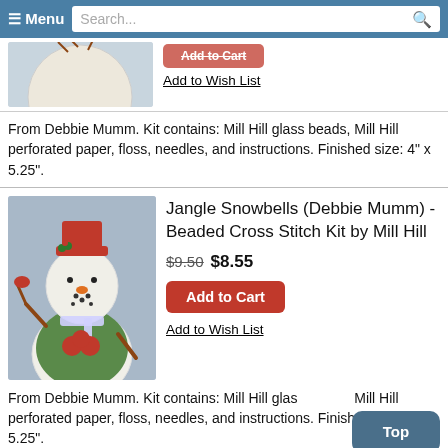≡ Menu  Search...
[Figure (photo): Partial product image cropped at top of page]
Add to Wish List
From Debbie Mumm. Kit contains: Mill Hill glass beads, Mill Hill perforated paper, floss, needles, and instructions. Finished size: 4" x 5.25".
[Figure (photo): Cross stitch snowman with red hat, green scarf, holding a candy cane, on a blue background]
Jangle Snowbells (Debbie Mumm) - Beaded Cross Stitch Kit by Mill Hill
$9.50 $8.55
Add to Cart
Add to Wish List
From Debbie Mumm. Kit contains: Mill Hill glass beads, Mill Hill perforated paper, floss, needles, and instructions. Finished size: 4" x 5.25".